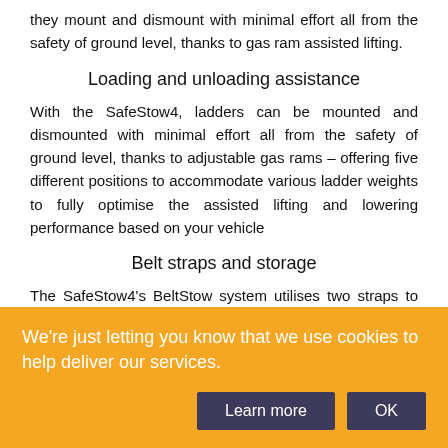they mount and dismount with minimal effort all from the safety of ground level, thanks to gas ram assisted lifting.
Loading and unloading assistance
With the SafeStow4, ladders can be mounted and dismounted with minimal effort all from the safety of ground level, thanks to adjustable gas rams – offering five different positions to accommodate various ladder weights to fully optimise the assisted lifting and lowering performance based on your vehicle
Belt straps and storage
The SafeStow4's BeltStow system utilises two straps to pull the ladder in place tightly to minimise any
We're just letting you know that we use cookies to help deliver our services.